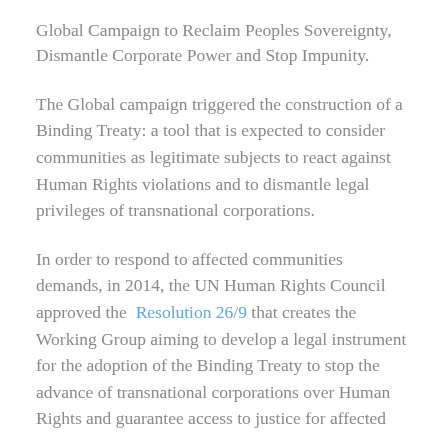Global Campaign to Reclaim Peoples Sovereignty, Dismantle Corporate Power and Stop Impunity.
The Global campaign triggered the construction of a Binding Treaty: a tool that is expected to consider communities as legitimate subjects to react against Human Rights violations and to dismantle legal privileges of transnational corporations.
In order to respond to affected communities demands, in 2014, the UN Human Rights Council approved the Resolution 26/9 that creates the Working Group aiming to develop a legal instrument for the adoption of the Binding Treaty to stop the advance of transnational corporations over Human Rights and guarantee access to justice for affected